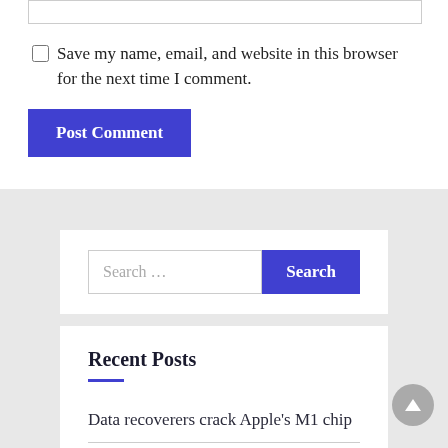Save my name, email, and website in this browser for the next time I comment.
Post Comment
Search ...
Recent Posts
Data recoverers crack Apple’s M1 chip
Global Electrosurgical Generators Market